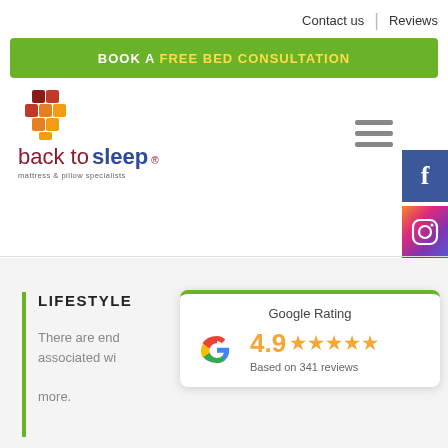Contact us | Reviews
BOOK A FREE BED CONSULTATION
[Figure (logo): Back to Sleep logo — orange diamond shape icon with red/maroon text 'back to sleep' and tagline 'mattress & pillow specialists']
[Figure (infographic): Hamburger menu icon (three horizontal bars) and social media icons: Facebook, Instagram, LinkedIn]
LIFESTYLE
There are end... associated wi... more.
[Figure (infographic): Google Rating card showing 4.9 stars based on 341 reviews with Google 'G' logo]